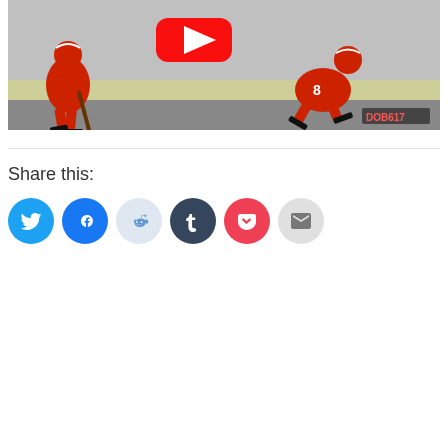[Figure (screenshot): YouTube video thumbnail showing ice hockey players in red uniforms on an ice rink. A large YouTube play button is visible in the center. The watermark DOB617 appears in the bottom right corner.]
Share this:
[Figure (infographic): Row of social sharing buttons: Twitter (blue bird), Facebook (blue f), Reddit (light blue alien), Tumblr (dark blue t), Pocket (red), Email (grey envelope)]